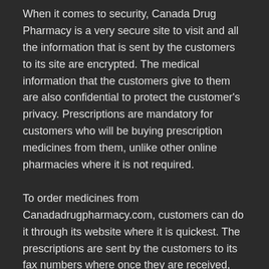When it comes to security, Canada Drug Pharmacy is a very secure site to visit and all the information that is sent by the customers to its site are encrypted. The medical information that the customers give to them are also confidential to protect the customer's privacy. Prescriptions are mandatory for customers who will be buying prescription medicines from them, unlike other online pharmacies where it is not required.
To order medicines from Canadadrugpharmacy.com, customers can do it through its website where it is quickest. The prescriptions are sent by the customers to its fax numbers where once they are received, only then will the customers be able to proceed with ordering their prescription drugs. For customers who want to order by using their emails, it's also possible since this is one of the ordering methods that Canada Drug Pharmacy offers. It is a must for the customers